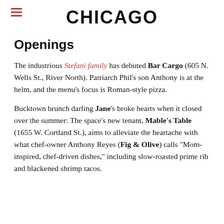CHICAGO
Openings
The industrious Stefani family has debuted Bar Cargo (605 N. Wells St., River North). Patriarch Phil’s son Anthony is at the helm, and the menu’s focus is Roman-style pizza.
Bucktown brunch darling Jane’s broke hearts when it closed over the summer: The space’s new tenant, Mable’s Table (1655 W. Cortland St.), aims to alleviate the heartache with what chef-owner Anthony Reyes (Fig & Olive) calls “Mom-inspired, chef-driven dishes,” including slow-roasted prime rib and blackened shrimp tacos.